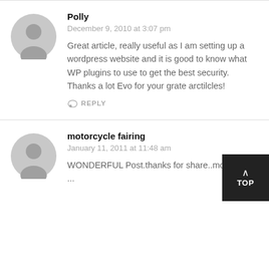Polly
December 9, 2010 at 3:07 pm
Great article, really useful as I am setting up a wordpress website and it is good to know what WP plugins to use to get the best security. Thanks a lot Evo for your grate arctilcles!
REPLY
motorcycle fairing
January 11, 2011 at 11:48 am
WONDERFUL Post.thanks for share..more wait .. ...